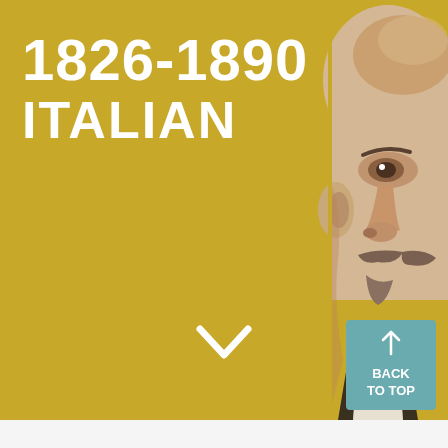1826-1890
ITALIAN
[Figure (photo): Portrait of an Italian man from the 19th century, showing the right side of his face with bald head and mustache, rendered in sepia/engraving style against a golden-yellow background]
↓
↑ BACK TO TOP